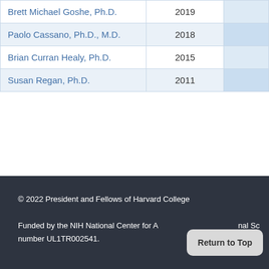| Name | Year |  |
| --- | --- | --- |
| Brett Michael Goshe, Ph.D. | 2019 |  |
| Paolo Cassano, Ph.D., M.D. | 2018 |  |
| Brian Curran Healy, Ph.D. | 2015 |  |
| Susan Regan, Ph.D. | 2011 |  |
© 2022 President and Fellows of Harvard College

Funded by the NIH National Center for Advancing Translational Sciences, award number UL1TR002541.